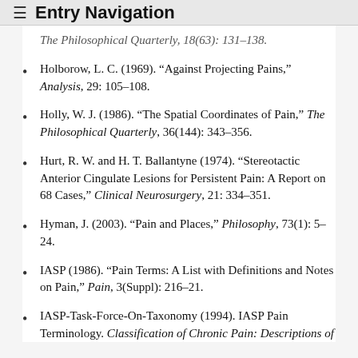≡ Entry Navigation
The Philosophical Quarterly, 18(63): 131–138. [truncated/partial]
Holborow, L. C. (1969). "Against Projecting Pains," Analysis, 29: 105–108.
Holly, W. J. (1986). "The Spatial Coordinates of Pain," The Philosophical Quarterly, 36(144): 343–356.
Hurt, R. W. and H. T. Ballantyne (1974). "Stereotactic Anterior Cingulate Lesions for Persistent Pain: A Report on 68 Cases," Clinical Neurosurgery, 21: 334–351.
Hyman, J. (2003). "Pain and Places," Philosophy, 73(1): 5–24.
IASP (1986). "Pain Terms: A List with Definitions and Notes on Pain," Pain, 3(Suppl): 216–21.
IASP-Task-Force-On-Taxonomy (1994). IASP Pain Terminology. Classification of Chronic Pain: Descriptions of Chronic Pain Syndromes and Definitions of Pain Terms. H. Merskey and N. Bogduk, Eds. Seattle, WA: IASP Press: 209–214.